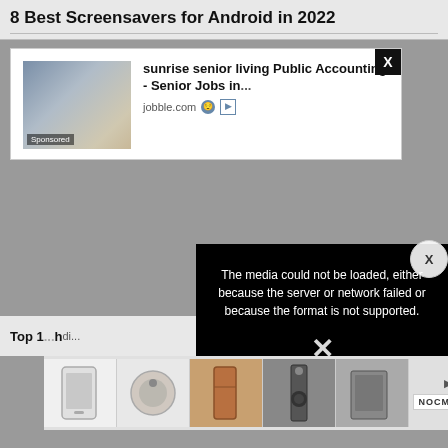8 Best Screensavers for Android in 2022
[Figure (screenshot): Advertisement popup showing 'sunrise senior living Public Accounting - Senior Jobs in...' from jobble.com with a sponsored image of a person working on a laptop/calculator. An X close button is in the top right corner.]
[Figure (screenshot): Media player error message on black background: 'The media could not be loaded, either because the server or network failed or because the format is not supported.' with a large X icon.]
[Figure (screenshot): Bottom advertisement bar showing product images (phone cases/accessories) with navigation arrows and NOCME logo.]
Top 1... h di...